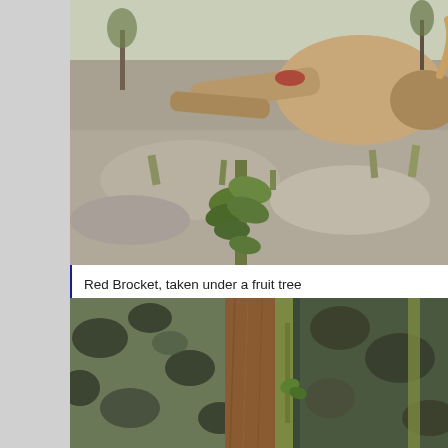[Figure (photo): A dead animal (deer/brocket) lying on rocky ground with sparse grass and a small green plant in the foreground, outdoor scrubland setting]
Red Brocket, taken under a fruit tree
[Figure (photo): Close-up photo showing camouflage clothing and a brown wooden rifle stock with green straps, hunting gear]